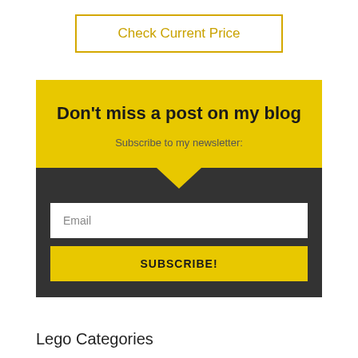Check Current Price
Don't miss a post on my blog
Subscribe to my newsletter:
Email
SUBSCRIBE!
Lego Categories